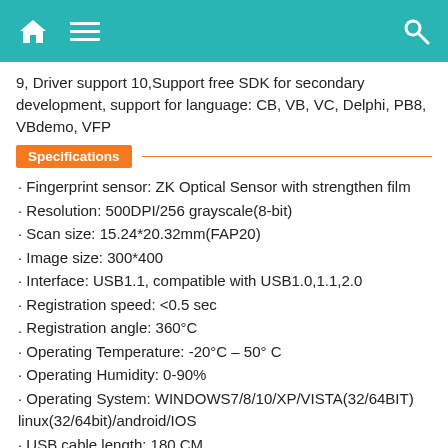Navigation bar with home, menu, and search icons
9, Driver support 10,Support free SDK for secondary development, support for language: CB, VB, VC, Delphi, PB8, VBdemo, VFP
Specifications
· Fingerprint sensor: ZK Optical Sensor with strengthen film
· Resolution: 500DPI/256 grayscale(8-bit)
· Scan size: 15.24*20.32mm(FAP20)
· Image size: 300*400
· Interface: USB1.1, compatible with USB1.0,1.1,2.0
· Registration speed: <0.5 sec
. Registration angle: 360°C
· Operating Temperature: -20°C – 50° C
· Operating Humidity: 0-90%
· Operating System: WINDOWS7/8/10/XP/VISTA(32/64BIT) linux(32/64bit)/android/IOS
· USB cable length: 180 CM
· Dimension (L*W*H): 124.5mm*102mm*34mm